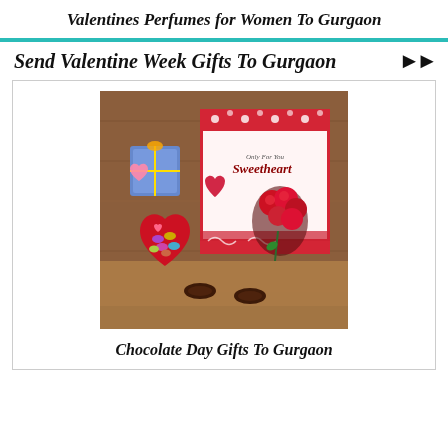Valentines Perfumes for Women To Gurgaon
Send Valentine Week Gifts To Gurgaon
[Figure (photo): Valentine's Day gift set with a red heart-shaped chocolate box filled with wrapped chocolates, red roses, and a greeting card reading 'Only For You Sweetheart', arranged on a wooden surface with chocolate cookies nearby.]
Chocolate Day Gifts To Gurgaon